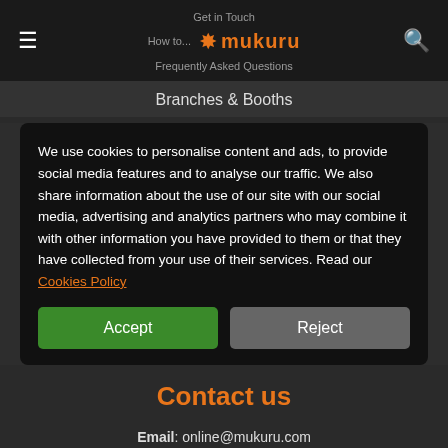Get in Touch | How to... | mukuru | Frequently Asked Questions | Branches & Booths
We use cookies to personalise content and ads, to provide social media features and to analyse our traffic. We also share information about the use of our site with our social media, advertising and analytics partners who may combine it with other information you have provided to them or that they have collected from your use of their services. Read our Cookies Policy
Accept | Reject
Contact us
Email: online@mukuru.com